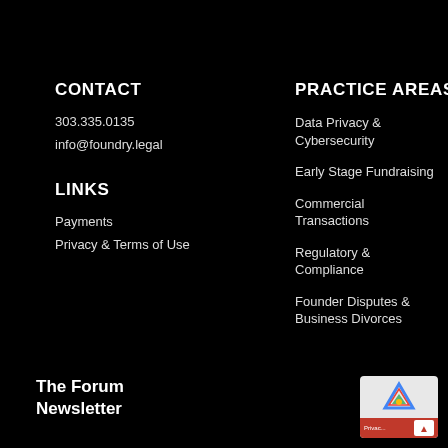CONTACT
303.335.0135
info@foundry.legal
LINKS
Payments
Privacy & Terms of Use
PRACTICE AREAS
Data Privacy & Cybersecurity
Early Stage Fundraising
Commercial Transactions
Regulatory & Compliance
Founder Disputes & Business Divorces
The Forum Newsletter